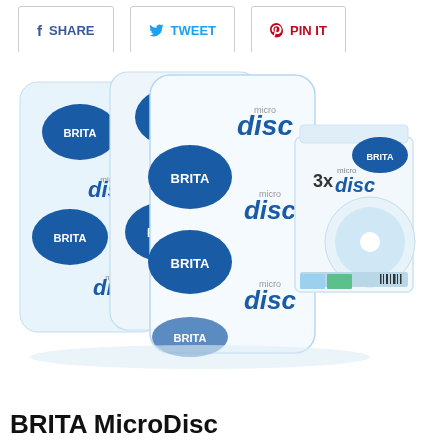SHARE  TWEET  PIN IT
[Figure (photo): Three BRITA MicroDisc water filter packets arranged side by side showing blue BRITA logos and 'micro disc' text, alongside the retail box packaging labeled '3x disc' with a barcode and product imagery]
BRITA MicroDisc